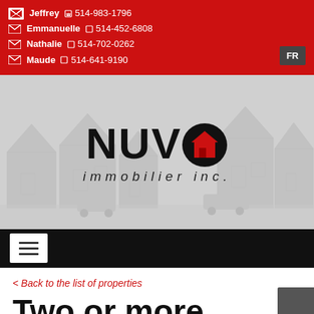Jeffrey 📞 514-983-1796 | Emmanuelle 📞 514-452-6808 | Nathalie 📞 514-702-0262 | Maude 📞 514-641-9190
[Figure (logo): NUVO immobilier inc. logo with house icon in the O, overlaid on a faded suburban houses background]
< Back to the list of properties
Two or more storey